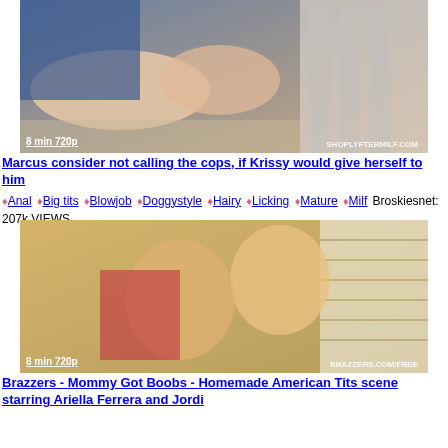[Figure (photo): Video thumbnail showing adult content, with watermark SHOPLYFTERMILF.COM]
8 min 720p
Marcus consider not calling the cops, if Krissy would give herself to him
♦Anal ♦Big tits ♦Blowjob ♦Doggystyle ♦Hairy ♦Licking ♦Mature ♦Milf Broskiesnet: 207k VIEWS
[Figure (photo): Video thumbnail showing adult content with BRAZZERS.COM/FREE watermark]
8 min 720p
Brazzers - Mommy Got Boobs - Homemade American Tits scene starring Ariella Ferrera and Jordi